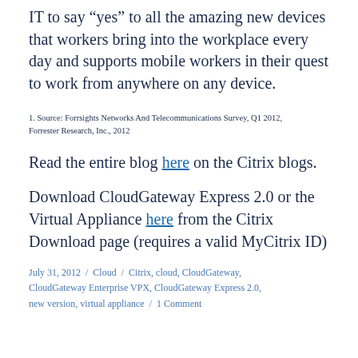IT to say “yes” to all the amazing new devices that workers bring into the workplace every day and supports mobile workers in their quest to work from anywhere on any device.
1. Source: Forrsights Networks And Telecommunications Survey, Q1 2012, Forrester Research, Inc., 2012
Read the entire blog here on the Citrix blogs.
Download CloudGateway Express 2.0 or the Virtual Appliance here from the Citrix Download page (requires a valid MyCitrix ID)
July 31, 2012 / Cloud / Citrix, cloud, CloudGateway, CloudGateway Enterprise VPX, CloudGateway Express 2.0, new version, virtual appliance / 1 Comment